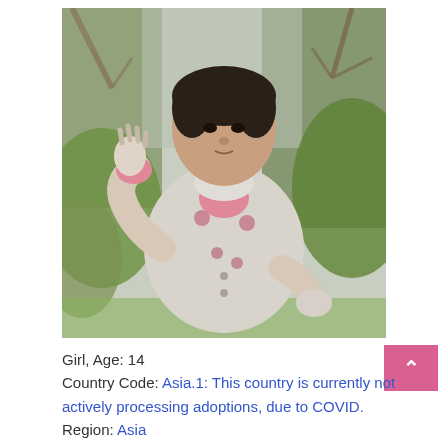[Figure (photo): A young girl (toddler/child) standing outdoors in a park or garden setting, wearing a floral patterned winter jacket with pink accents, raising one hand. Trees and green shrubs visible in the background.]
Girl, Age: 14
Country Code: Asia.1: This country is currently not actively processing adoptions, due to COVID.
Region: Asia